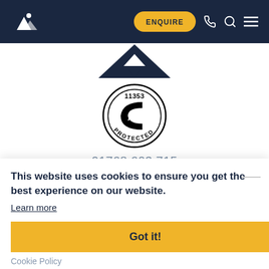Navigation bar with Far & Wild logo, ENQUIRE button, phone icon, search icon, menu icon
[Figure (logo): Dark navy triangle logo shape (top of page, partially visible)]
[Figure (logo): ATOL Protected badge - circular black and white logo with number 11353]
01768 603 715
enquiries@farandwild.travel
This website uses cookies to ensure you get the best experience on our website.
Learn more
Got it!
Cookie Policy